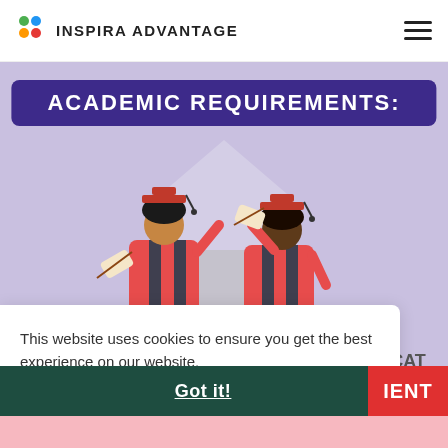INSPIRA ADVANTAGE
ACADEMIC REQUIREMENTS:
[Figure (illustration): Two graduates in red robes and mortarboards holding diplomas, standing in front of a stylized building, on a lavender/purple background.]
This website uses cookies to ensure you get the best experience on our website.
Learn more
Got it!